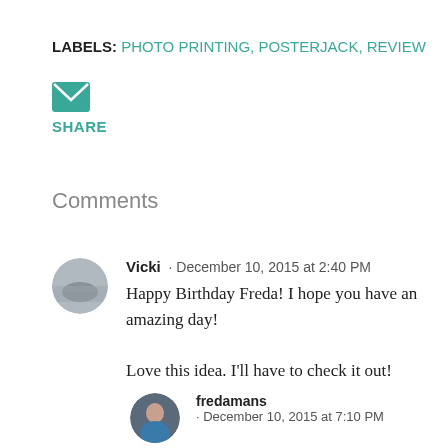LABELS: PHOTO PRINTING, POSTERJACK, REVIEW
[Figure (illustration): Email/envelope icon in teal/green color]
SHARE
Comments
Vicki · December 10, 2015 at 2:40 PM
Happy Birthday Freda! I hope you have an amazing day!

Love this idea. I'll have to check it out!
fredamans · December 10, 2015 at 7:10 PM